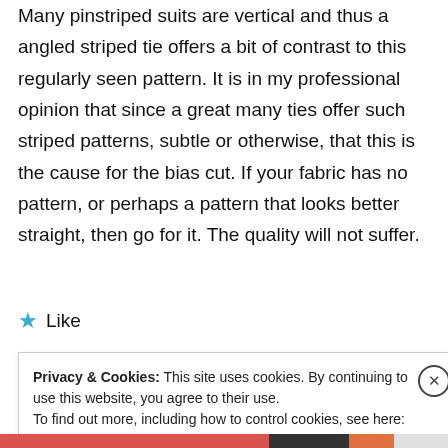Many pinstriped suits are vertical and thus a angled striped tie offers a bit of contrast to this regularly seen pattern. It is in my professional opinion that since a great many ties offer such striped patterns, subtle or otherwise, that this is the cause for the bias cut. If your fabric has no pattern, or perhaps a pattern that looks better straight, then go for it. The quality will not suffer.
★ Like
Privacy & Cookies: This site uses cookies. By continuing to use this website, you agree to their use. To find out more, including how to control cookies, see here: Cookie Policy
Close and accept